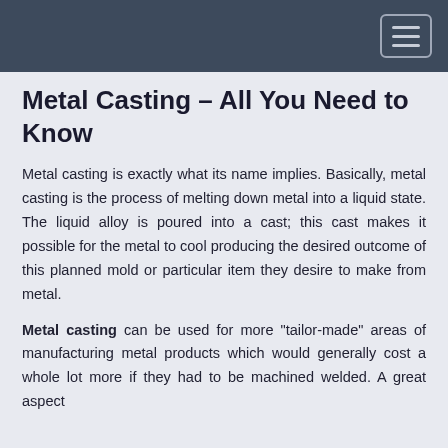Metal Casting – All You Need to Know
Metal casting is exactly what its name implies. Basically, metal casting is the process of melting down metal into a liquid state. The liquid alloy is poured into a cast; this cast makes it possible for the metal to cool producing the desired outcome of this planned mold or particular item they desire to make from metal.
Metal casting can be used for more "tailor-made" areas of manufacturing metal products which would generally cost a whole lot more if they had to be machined welded. A great aspect